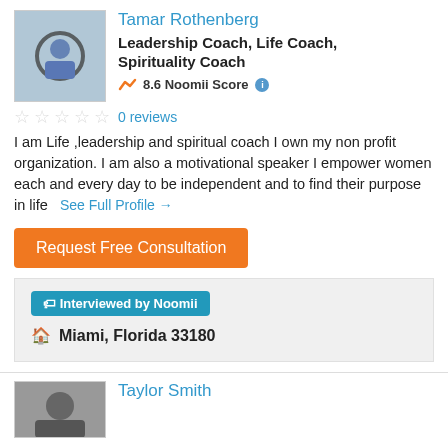Tamar Rothenberg
Leadership Coach, Life Coach, Spirituality Coach
8.6 Noomii Score
0 reviews
I am Life ,leadership and spiritual coach I own my non profit organization. I am also a motivational speaker I empower women each and every day to be independent and to find their purpose in life  See Full Profile →
Request Free Consultation
Interviewed by Noomii
Miami, Florida 33180
Taylor Smith